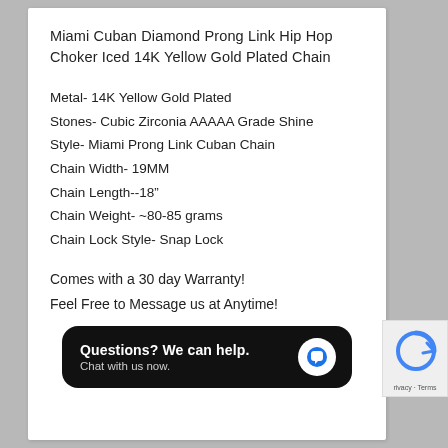Miami Cuban Diamond Prong Link Hip Hop Choker Iced 14K Yellow Gold Plated Chain
Metal- 14K Yellow Gold Plated
Stones- Cubic Zirconia AAAAA Grade Shine
Style- Miami Prong Link Cuban Chain
Chain Width- 19MM
Chain Length--18"
Chain Weight- ~80-85 grams
Chain Lock Style- Snap Lock
Comes with a 30 day Warranty!
Feel Free to Message us at Anytime!
[Figure (other): Chat widget with black rounded rectangle background showing 'Questions? We can help. Chat with us now.' and a white circle with blue chat bubble icon]